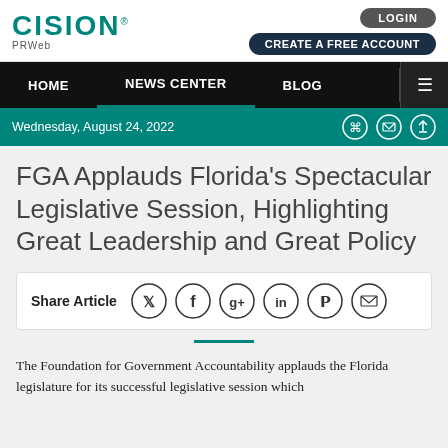CISION PRWeb
LOGIN | CREATE A FREE ACCOUNT
HOME | NEWS CENTER | BLOG
Wednesday, August 24, 2022
FGA Applauds Florida’s Spectacular Legislative Session, Highlighting Great Leadership and Great Policy
Share Article
The Foundation for Government Accountability applauds the Florida legislature for its successful legislative session which